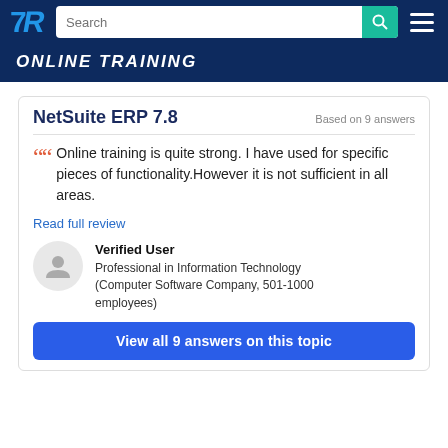TrustRadius — Search — Online Training
ONLINE TRAINING
NetSuite ERP 7.8
Based on 9 answers
Online training is quite strong. I have used for specific pieces of functionality.However it is not sufficient in all areas.
Read full review
Verified User
Professional in Information Technology (Computer Software Company, 501-1000 employees)
View all 9 answers on this topic